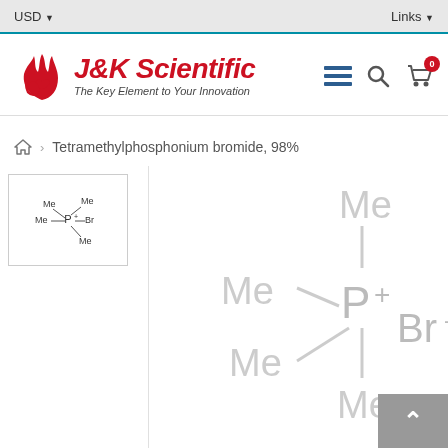USD  Links
[Figure (logo): J&K Scientific logo with flame/bird icon and tagline 'The Key Element to Your Innovation']
Tetramethylphosphonium bromide, 98%
[Figure (schematic): Small thumbnail of tetramethylphosphonium bromide chemical structure: Me groups attached to P+ with Br-]
[Figure (schematic): Large chemical structure of tetramethylphosphonium bromide showing P+ center with four Me groups and Br- counter-ion]